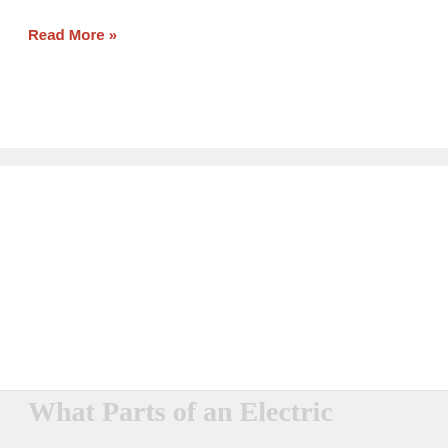Read More »
[Figure (photo): Large white image area within a card, likely a photo placeholder]
What Parts of an Electric